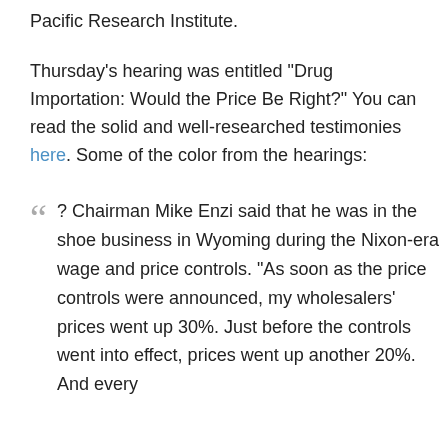Pacific Research Institute.
Thursday's hearing was entitled "Drug Importation: Would the Price Be Right?" You can read the solid and well-researched testimonies here. Some of the color from the hearings:
? Chairman Mike Enzi said that he was in the shoe business in Wyoming during the Nixon-era wage and price controls. "As soon as the price controls were announced, my wholesalers' prices went up 30%. Just before the controls went into effect, prices went up another 20%. And every